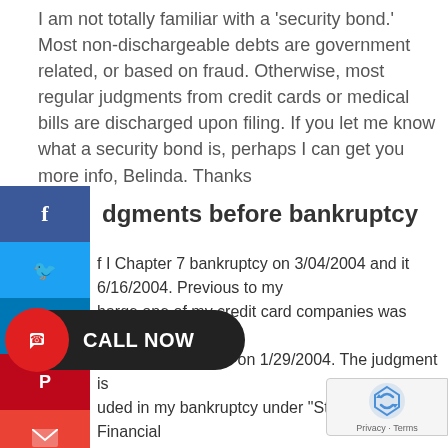I am not totally familiar with a 'security bond.' Most non-dischargeable debts are government related, or based on fraud. Otherwise, most regular judgments from credit cards or medical bills are discharged upon filing. If you let me know what a security bond is, perhaps I can get you more info, Belinda. Thanks
dgments before bankruptcy
f I Chapter 7 bankruptcy on 3/04/2004 and it 6/16/2004. Previous to my harge one of my credit card companies was granted dgment against me on 1/29/2004. The judgment is uded in my bankruptcy under "Statement of Financial airs" but the debt was discharged on Schedule F secured claims versus on the Schedule D Creditors ding Secured Claims. My question is two-fold this debt taken off public record based on it b harged and should my attorney have filed this